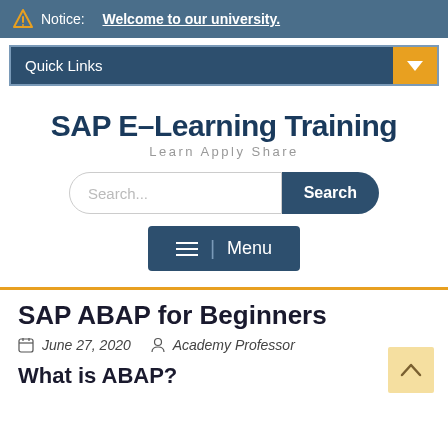Notice: Welcome to our university.
Quick Links
SAP E-Learning Training
Learn Apply Share
Search...
Menu
SAP ABAP for Beginners
June 27, 2020   Academy Professor
What is ABAP?